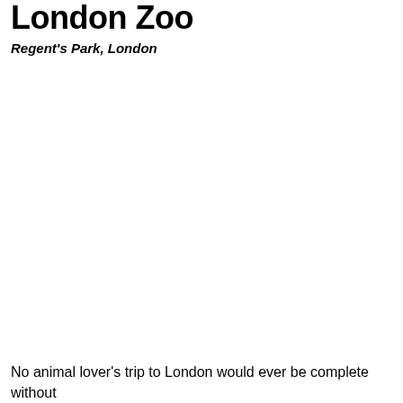London Zoo
Regent's Park, London
No animal lover's trip to London would ever be complete without